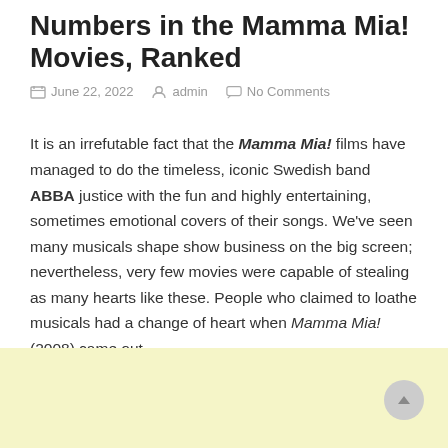Numbers in the Mamma Mia! Movies, Ranked
June 22, 2022   admin   No Comments
It is an irrefutable fact that the Mamma Mia! films have managed to do the timeless, iconic Swedish band ABBA justice with the fun and highly entertaining, sometimes emotional covers of their songs. We've seen many musicals shape show business on the big screen; nevertheless, very few movies were capable of stealing as many hearts like these. People who claimed to loathe musicals had a change of heart when Mamma Mia! (2008) came out.